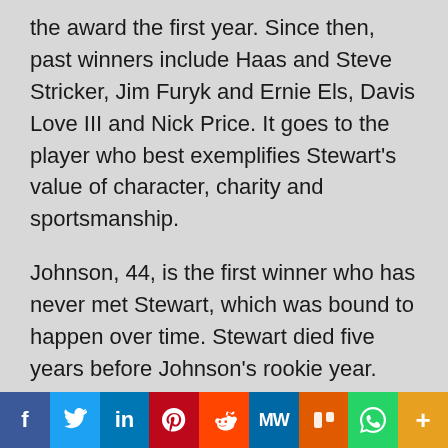the award the first year. Since then, past winners include Haas and Steve Stricker, Jim Furyk and Ernie Els, Davis Love III and Nick Price. It goes to the player who best exemplifies Stewart's value of character, charity and sportsmanship.
Johnson, 44, is the first winner who has never met Stewart, which was bound to happen over time. Stewart died five years before Johnson's rookie year. Even so, Stewart was one of his idols. For years, when asked for his dream foursome, Johnson mentioned his father, Ben Hogan and Stewart.
"I always liked his golf swing. In the most difficult of situations, his best game came out," Johnson said. "I love
f  Twitter  in  Pinterest  Reddit  MW  Mix  WhatsApp  More